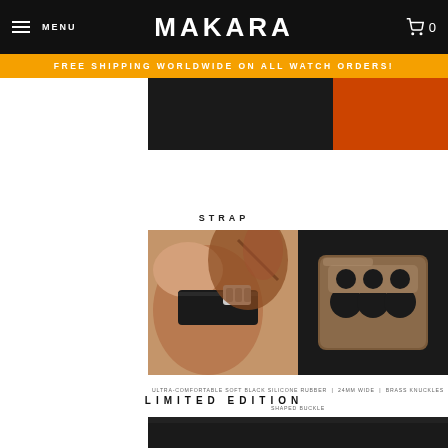MENU | MAKARA | 0
FREE SHIPPING WORLDWIDE ON ALL WATCH ORDERS!
[Figure (photo): Partial product/banner image at top of page]
STRAP
[Figure (photo): Two side-by-side photos: left shows tattooed hand wearing black silicone rubber watch strap with brass knuckles-shaped buckle; right shows close-up of bronze/brass knuckles-shaped buckle on dark background]
ULTRA-COMFORTABLE SOFT BLACK SILICONE RUBBER | 24MM WIDE | BRASS KNUCKLES SHAPED BUCKLE
LIMITED EDITION
[Figure (photo): Partial dark product image at bottom of page]